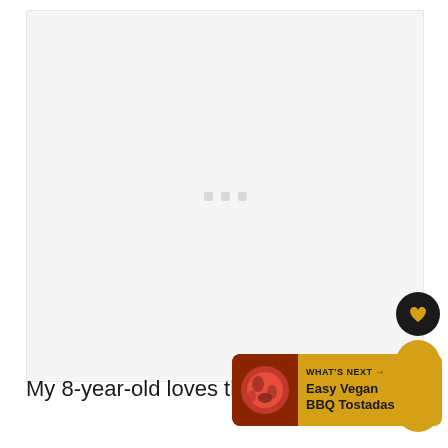[Figure (photo): Large image placeholder area with light gray background and three small gray loading dots in the center]
[Figure (infographic): UI panel with heart button (black circle), count badge showing 95 (gold circle), and share button (gold circle with share icon)]
My 8-year-old loves these veggie pizza
[Figure (infographic): What's Next banner showing a food image thumbnail on left and text 'WHAT'S NEXT → Easy Vegan BBQ Tostadas' on gold background]